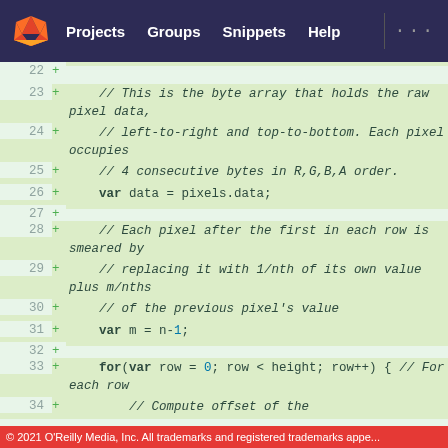Projects  Groups  Snippets  Help
[Figure (screenshot): GitLab-style code diff view showing JavaScript lines 22-34. Lines are highlighted in green as added lines (+). Code includes comments about byte array pixel data and a for loop.]
© 2021 O'Reilly Media, Inc. All trademarks and registered trademarks appe...